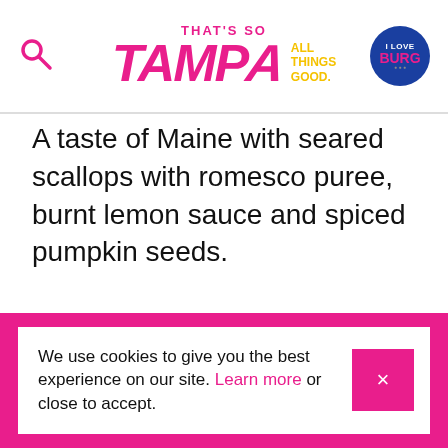That's So Tampa — All Things Good
A taste of Maine with seared scallops with romesco puree, burnt lemon sauce and spiced pumpkin seeds.
We use cookies to give you the best experience on our site. Learn more or close to accept.